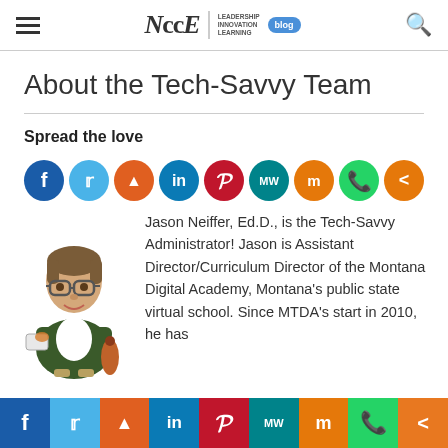NCCE Blog – Leadership Innovation Learning
About the Tech-Savvy Team
Spread the love
[Figure (infographic): Social sharing icons: Facebook, Twitter, Reddit, LinkedIn, Pinterest, MeWe, Mix, WhatsApp, Share]
[Figure (illustration): Cartoon illustration of a man with glasses holding a device]
Jason Neiffer, Ed.D., is the Tech-Savvy Administrator!  Jason is Assistant Director/Curriculum Director of the Montana Digital Academy, Montana's public state virtual school. Since MTDA's start in 2010, he has
Social sharing bar: Facebook, Twitter, Reddit, LinkedIn, Pinterest, MeWe, Mix, WhatsApp, Share